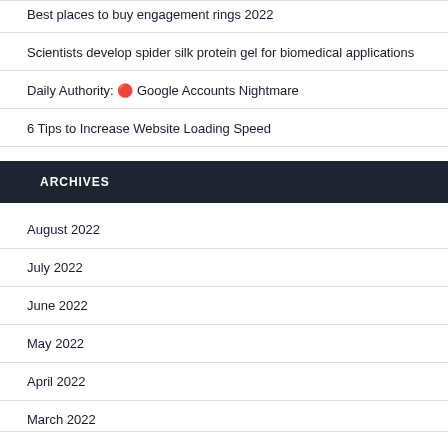Best places to buy engagement rings 2022
Scientists develop spider silk protein gel for biomedical applications
Daily Authority: 🔴 Google Accounts Nightmare
6 Tips to Increase Website Loading Speed
ARCHIVES
August 2022
July 2022
June 2022
May 2022
April 2022
March 2022